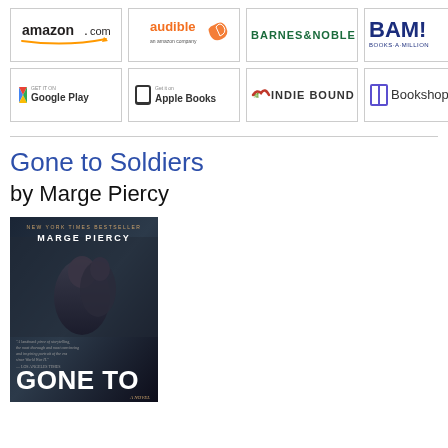[Figure (logo): Amazon.com logo]
[Figure (logo): Audible an Amazon company logo]
[Figure (logo): Barnes & Noble logo]
[Figure (logo): BAM! Books-A-Million logo]
[Figure (logo): Get it on Google Play logo]
[Figure (logo): Get it on Apple Books logo]
[Figure (logo): IndieBound logo]
[Figure (logo): Bookshop logo]
Gone to Soldiers
by Marge Piercy
[Figure (photo): Book cover of Gone to Soldiers by Marge Piercy. New York Times Bestseller. Dark cover showing two figures in military embrace. Large white text GONE TO at bottom. A NOVEL label.]